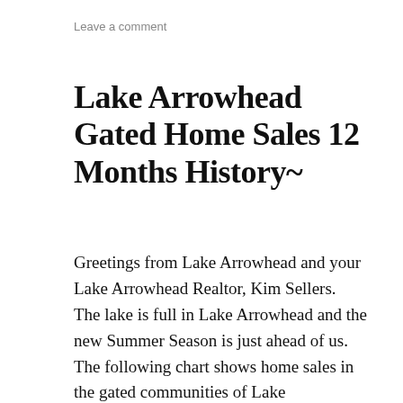Leave a comment
Lake Arrowhead Gated Home Sales 12 Months History~
Greetings from Lake Arrowhead and your Lake Arrowhead Realtor, Kim Sellers.  The lake is full in Lake Arrowhead and the new Summer Season is just ahead of us.  The following chart shows home sales in the gated communities of Lake Arrowhead.  All information was obtained from Rim Association of Realtors and information is deemed reliable but not guaranteed.